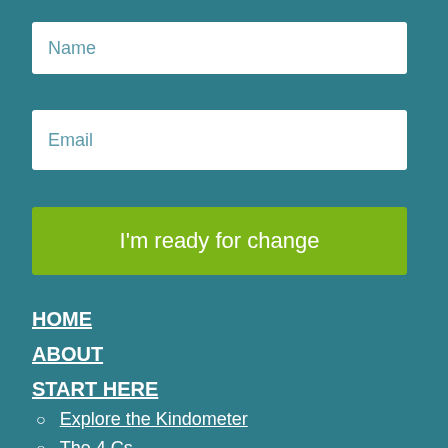[Figure (screenshot): Name input field placeholder text on teal background]
[Figure (screenshot): Email input field placeholder text on teal background]
[Figure (screenshot): Green button labeled I'm ready for change]
HOME
ABOUT
START HERE
Explore the Kindometer
The 4 Cs
BLOG
NEWSLETTER